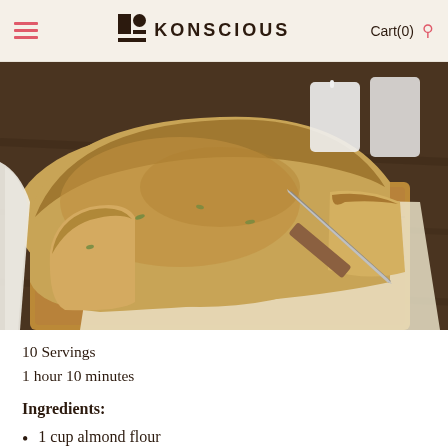KONSCIOUS  Cart(0)
[Figure (photo): A sliced loaf of zucchini or banana bread on a wooden cutting board with a knife, parchment paper, and white ceramic mugs in background on a dark wood table]
10 Servings
1 hour 10 minutes
Ingredients:
1 cup almond flour